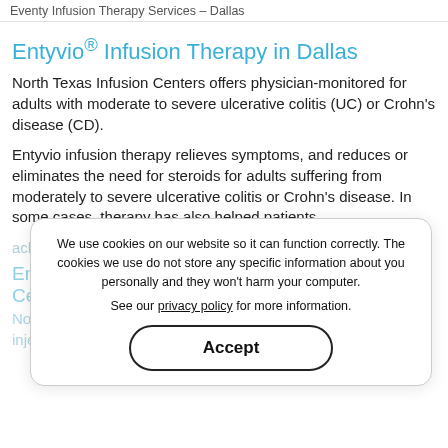Eventy Infusion Therapy Services – Dallas
Entyvio® Infusion Therapy in Dallas
North Texas Infusion Centers offers physician-monitored for adults with moderate to severe ulcerative colitis (UC) or Crohn's disease (CD).
Entyvio infusion therapy relieves symptoms, and reduces or eliminates the need for steroids for adults suffering from moderately to severe ulcerative colitis or Crohn's disease. In some cases, therapy has also helped patients
achieve early and lasting remission.
Entyvio Infusion Therapy at North Texas Infusion Centers
North Texas Infusion Centers (NTIC) is a patient-focused injection and infusion clinic and pharmacy that offers a
We use cookies on our website so it can function correctly. The cookies we use do not store any specific information about you personally and they won't harm your computer.

See our privacy policy for more information.
Accept